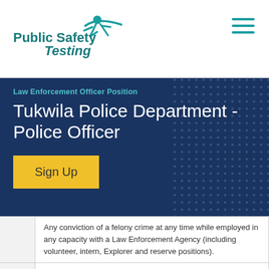[Figure (logo): Public Safety Testing logo with teal running figure and teal text]
[Figure (other): Hamburger menu icon (three teal horizontal lines)]
Law Enforcement Officer Position
Tukwila Police Department - Police Officer
Sign Up
Any conviction of a felony crime at any time while employed in any capacity with a Law Enforcement Agency (including volunteer, intern, Explorer and reserve positions).
Automatic
Any theft of property or money within the past five years.
Automatic